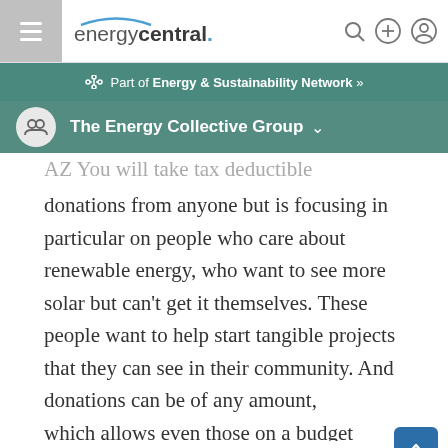energycentral.
Part of Energy & Sustainability Network »
The Energy Collective Group
AZ  You will take tax deductible donations from anyone but is focusing in particular on people who care about renewable energy, who want to see more solar but can't get it themselves. These people want to help start tangible projects that they can see in their community. And donations can be of any amount, which allows even those on a budget